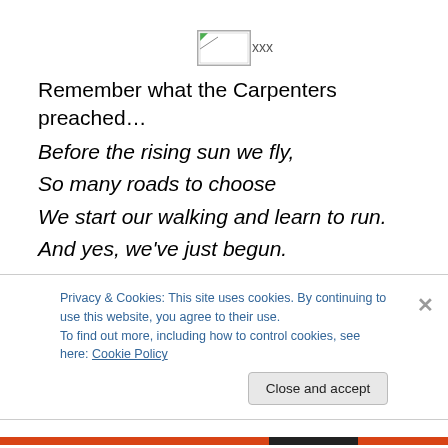[Figure (other): Broken image placeholder with label 'xxx']
Remember what the Carpenters preached…
Before the rising sun we fly,
So many roads to choose
We start our walking and learn to run.
And yes, we've just begun.
Mile 5 races through the streets of Waiks. Admiring the beauty of the Christmas lights and sounds of the ocean
Privacy & Cookies: This site uses cookies. By continuing to use this website, you agree to their use.
To find out more, including how to control cookies, see here: Cookie Policy
Close and accept